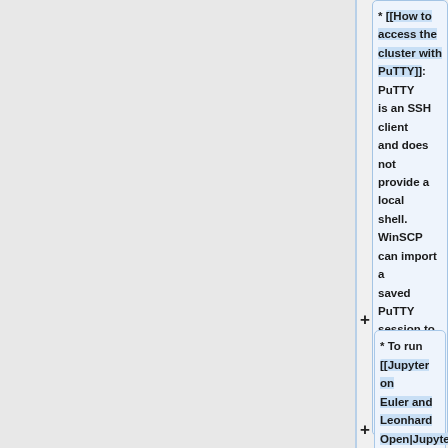* [[How to access the cluster with PuTTY]]: PuTTY is an SSH client and does not provide a local shell. WinSCP can import a saved PuTTY session to create a connection for data transfer.
* To run [[Jupyter on Euler and Leonhard Open|Jupyter Notebook]] or [[VSCode|VSCode on Euler]],